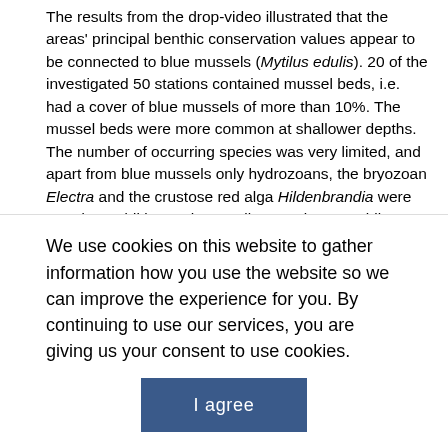The results from the drop-video illustrated that the areas' principal benthic conservation values appear to be connected to blue mussels (Mytilus edulis). 20 of the investigated 50 stations contained mussel beds, i.e. had a cover of blue mussels of more than 10%. The mussel beds were more common at shallower depths. The number of occurring species was very limited, and apart from blue mussels only hydrozoans, the bryozoan Electra and the crustose red alga Hildenbrandia were noted. In addition to the sessile organisms, mobile species were also recorded: Three species of fish were noted – rock gunnel, short-horn sculpin and cod – and two species of mobile crustaceans – the isopod Saduria
We use cookies on this website to gather information how you use the website so we can improve the experience for you. By continuing to use our services, you are giving us your consent to use cookies.